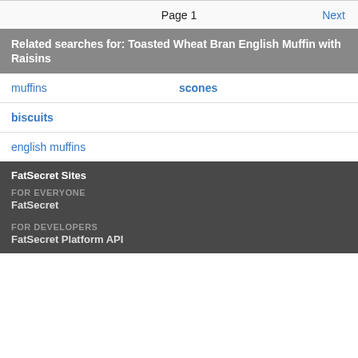Page 1   Next
Related searches for: Toasted Wheat Bran English Muffin with Raisins
muffins
scones
biscuits
english muffins
FatSecret Sites
FOR EVERYONE
FatSecret
FOR DEVELOPERS
FatSecret Platform API